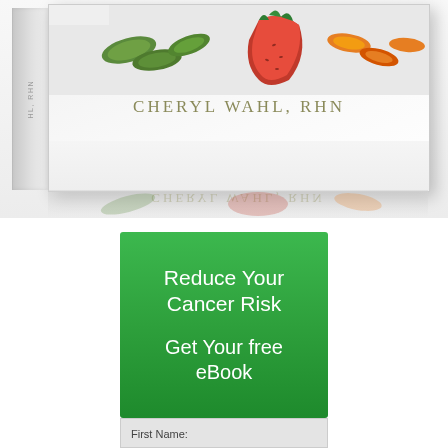[Figure (photo): 3D book mockup showing a health/nutrition book by Cheryl Wahl, RHN with fruits and vegetables on the cover, displayed at an angle with a mirror reflection below]
[Figure (other): Green gradient banner with white text reading 'Reduce Your Cancer Risk' and 'Get Your free eBook', followed by a light grey form section with 'First Name:' label and an input field]